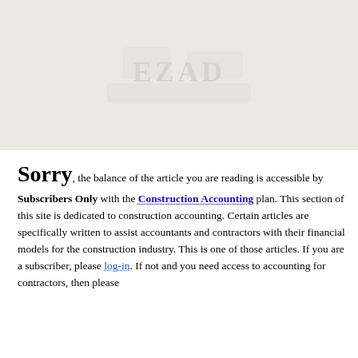[Figure (illustration): Faded/watermarked background image placeholder area, light beige/gray tone with faint text 'EZAD' visible]
Sorry, the balance of the article you are reading is accessible by Subscribers Only with the Construction Accounting plan. This section of this site is dedicated to construction accounting. Certain articles are specifically written to assist accountants and contractors with their financial models for the construction industry. This is one of those articles. If you are a subscriber, please log-in. If not and you need access to accounting for contractors, then please